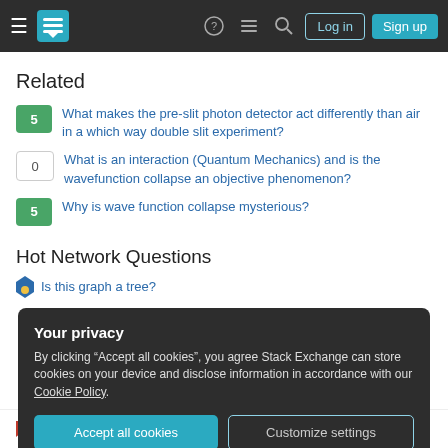Stack Exchange navigation bar with hamburger menu, logo, help, chat, search icons, Log in and Sign up buttons
Related
5 — What makes the pre-slit photon detector act differently than air in a which way double slit experiment?
0 — What is an interaction (Quantum Mechanics) and is the wavefunction collapse an objective phenomenon?
5 — Why is wave function collapse mysterious?
Hot Network Questions
Is this graph a tree?
Your privacy
By clicking "Accept all cookies", you agree Stack Exchange can store cookies on your device and disclose information in accordance with our Cookie Policy.
Accept all cookies  Customize settings
Isn't the phrase "minutes show" grammatically weird at the end of this text?